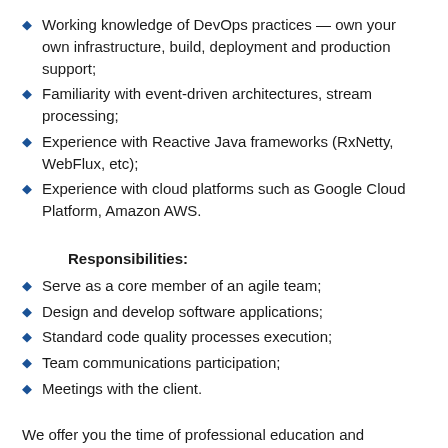Working knowledge of DevOps practices — own your own infrastructure, build, deployment and production support;
Familiarity with event-driven architectures, stream processing;
Experience with Reactive Java frameworks (RxNetty, WebFlux, etc);
Experience with cloud platforms such as Google Cloud Platform, Amazon AWS.
Responsibilities:
Serve as a core member of an agile team;
Design and develop software applications;
Standard code quality processes execution;
Team communications participation;
Meetings with the client.
We offer you the time of professional education and